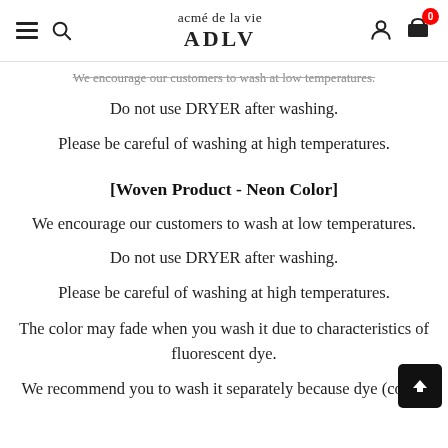acmé de la vie ADLV
We encourage our customers to wash at low temperatures.
Do not use DRYER after washing.
Please be careful of washing at high temperatures.
[Woven Product - Neon Color]
We encourage our customers to wash at low temperatures.
Do not use DRYER after washing.
Please be careful of washing at high temperatures.
The color may fade when you wash it due to characteristics of fluorescent dye.
We recommend you to wash it separately because dye (color)